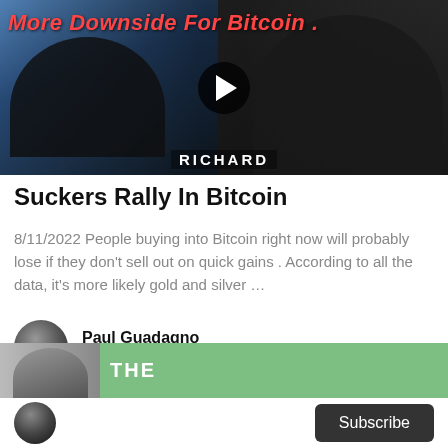[Figure (screenshot): YouTube video thumbnail showing two people — an Asian man in a suit on the left and a Caucasian man in dark clothing on the right — with a red italic overlay title 'More Downside For Bitcoin' and a play button in the center. The lower portion shows a 'RICHARD' label.]
Suckers Rally In Bitcoin
8/11/2022 People buying into Bitcoin right now will probably lose if they don't sell out on quick gains . According to all the data, it's more likely gold and silver …
Paul Guadagno
4 days ago in The Swamp
[Figure (screenshot): Partial view of a second article thumbnail with green background, showing part of a person and partial text]
Subscribe